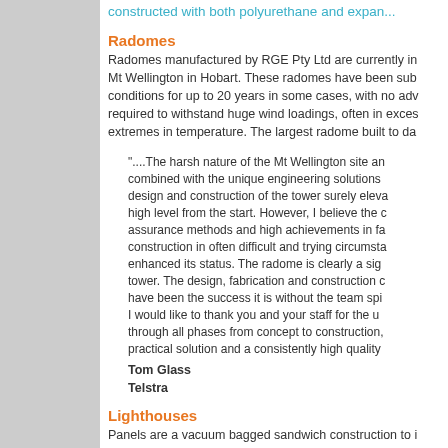constructed with both polyurethane and expan...
Radomes
Radomes manufactured by RGE Pty Ltd are currently in Mt Wellington in Hobart. These radomes have been sub conditions for up to 20 years in some cases, with no adv required to withstand huge wind loadings, often in exces extremes in temperature. The largest radome built to da
"....The harsh nature of the Mt Wellington site an combined with the unique engineering solutions design and construction of the tower surely eleva high level from the start. However, I believe the c assurance methods and high achievements in fa construction in often difficult and trying circumsta enhanced its status. The radome is clearly a sig tower. The design, fabrication and construction c have been the success it is without the team spi I would like to thank you and your staff for the u through all phases from concept to construction, practical solution and a consistently high quality Tom Glass Telstra
Lighthouses
Panels are a vacuum bagged sandwich construction to i and are modular designed to allow for varying height rec